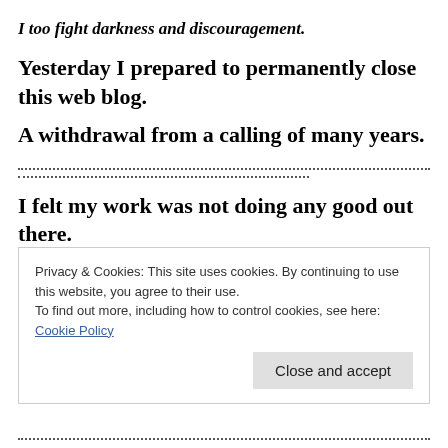I too fight darkness and discouragement.
Yesterday I prepared to permanently close this web blog.
A withdrawal from a calling of many years.
I felt my work was not doing any good out there.
Privacy & Cookies: This site uses cookies. By continuing to use this website, you agree to their use. To find out more, including how to control cookies, see here: Cookie Policy
Close and accept